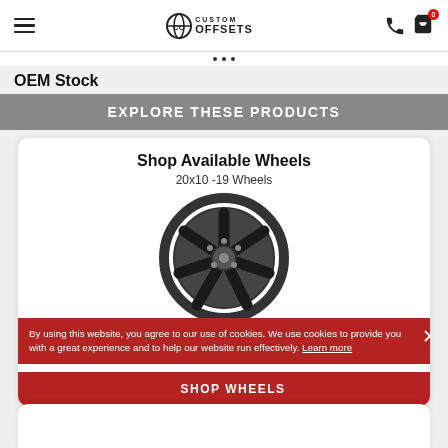Custom Offsets — navigation header with hamburger menu, logo, phone and cart icons
OEM Stock
EXPLORE THESE PRODUCTS
Shop Available Wheels
20x10 -19 Wheels
[Figure (illustration): Dark gray spoke wheel / rim illustration]
By using this website, you agree to our use of cookies. We use cookies to provide you with a great experience and to help our website run effectively. Learn more
SHOP WHEELS